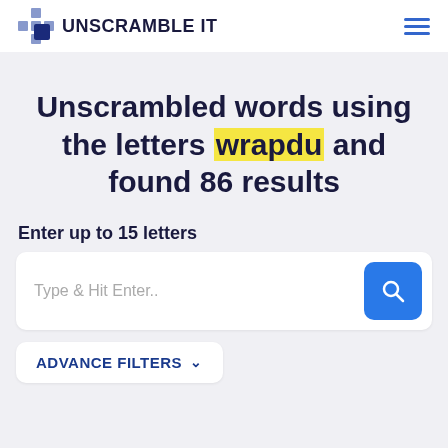UNSCRAMBLE IT
Unscrambled words using the letters wrapdu and found 86 results
Enter up to 15 letters
Type & Hit Enter..
ADVANCE FILTERS